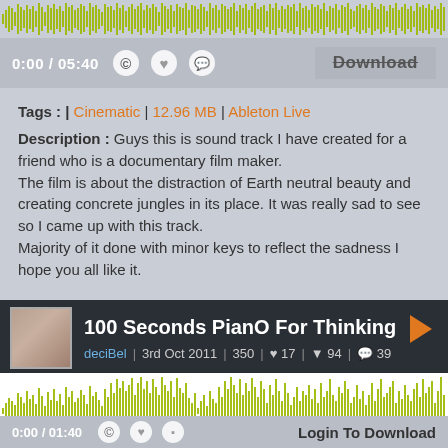[Figure (other): Audio waveform visualization in yellow-green on grey background]
0:00 / 05:40
Download
Tags : | Cinematic | 12.96 MB | Ableton Live
Description : Guys this is sound track I have created for a friend who is a documentary film maker.
The film is about the distraction of Earth neutral beauty and creating concrete jungles in its place. It was really sad to see so I came up with this track.
Majority of it done with minor keys to reflect the sadness I hope you all like it.
100 Seconds PianO For Thinking
deciBel | 3rd Oct 2011 | 350 | 17 | 94 | 39
[Figure (other): Audio waveform visualization in yellow-green on white background]
0:00 / 01:40
Login To Download